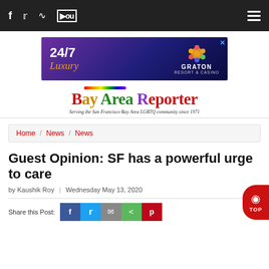Navigation bar with social icons (Facebook, Twitter, RSS, YouTube) and hamburger menu
[Figure (illustration): Advertisement banner: 24/7 Luxury - Graton Resort & Casino]
[Figure (logo): Bay Area Reporter logo with rainbow graphic and tagline: Serving the San Francisco Bay Area LGBTQ community since 1971]
Home / News / News
Guest Opinion: SF has a powerful urge to care
by Kaushik Roy | Wednesday May 13, 2020
Share this Post: